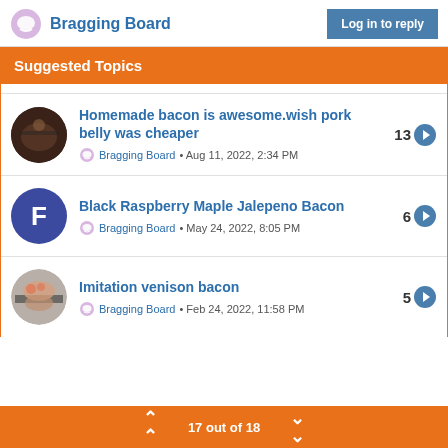Bragging Board | Log in to reply
Suggested Topics
Homemade bacon is awesome.wish pork belly was cheaper • Bragging Board • Aug 11, 2022, 2:34 PM • 13 replies
Black Raspberry Maple Jalepeno Bacon • Bragging Board • May 24, 2022, 8:05 PM • 6 replies
Imitation venison bacon • Bragging Board • Feb 24, 2022, 11:58 PM • 5 replies
17 out of 18